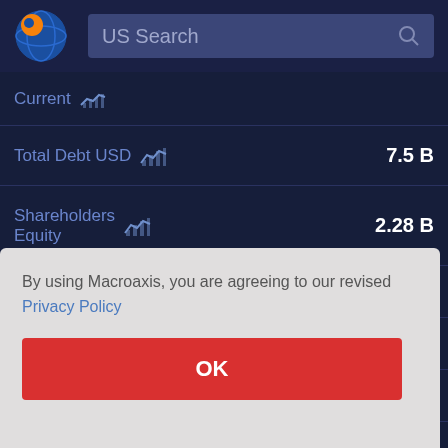[Figure (logo): Macroaxis globe logo with orange and blue colors]
US Search
| Metric | Value |
| --- | --- |
| Current |  |
| Total Debt USD | 7.5 B |
| Shareholders Equity | 2.28 B |
|  | 28 B |
|  | 08 M |
|  | 5.5 M |
By using Macroaxis, you are agreeing to our revised Privacy Policy
OK